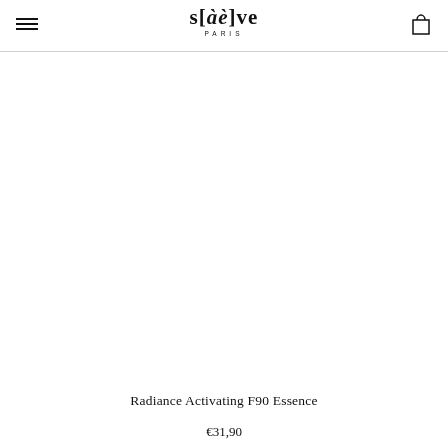s[aè]ve PARIS
[Figure (photo): Empty white product image area for Radiance Activating F90 Essence]
Radiance Activating F90 Essence
€31,90